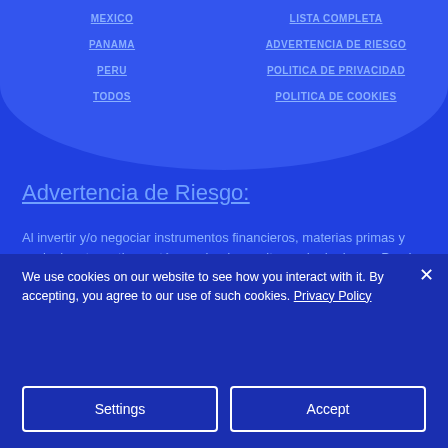MEXICO
PANAMA
PERU
TODOS
LISTA COMPLETA
ADVERTENCIA DE RIESGO
POLITICA DE PRIVACIDAD
POLITICA DE COOKIES
Advertencia de Riesgo:
Al invertir y/o negociar instrumentos financieros, materias primas y cualquier otro activo, está asumiendo un alto grado de riesgo. Puede perder todo su dinero depositado. Debe participar en cualquier actividad de este tipo solo si es plenamente consciente de los riesgos relevantes.
We use cookies on our website to see how you interact with it. By accepting, you agree to our use of such cookies. Privacy Policy
Settings
Accept